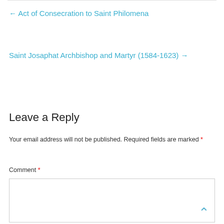← Act of Consecration to Saint Philomena
Saint Josaphat Archbishop and Martyr (1584-1623) →
Leave a Reply
Your email address will not be published. Required fields are marked *
Comment *